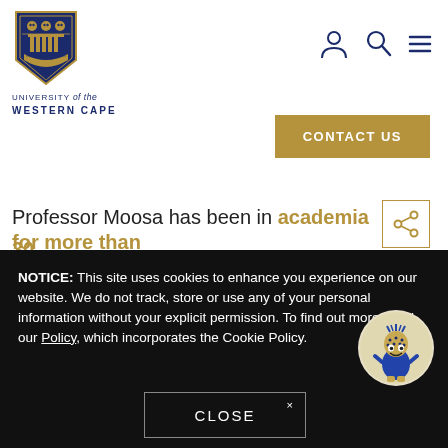[Figure (logo): University of the Western Cape shield logo with navy blue and gold crest, featuring owls, columns, and a banner]
UNIVERSITY of the WESTERN CAPE
[Figure (other): Navigation icons: person/account icon, search/magnifying glass icon, hamburger menu icon]
[Figure (other): Gold 'CONTACT US' button]
[Figure (other): Share icon button with network/share symbol in gold on white with gold border]
Professor Moosa has been in academia for more than 30...
NOTICE: This site uses cookies to enhance you experience on our website. We do not track, store or use any of your personal information without your explicit permission. To find out more, read our Policy, which incorporates the Cookie Policy.
[Figure (illustration): Cartoon mascot character resembling a stylized pineapple or fynbos plant figure wearing a blue outfit, inside a circular frame on beige background]
[Figure (other): CLOSE button with X mark, dark background, white border]